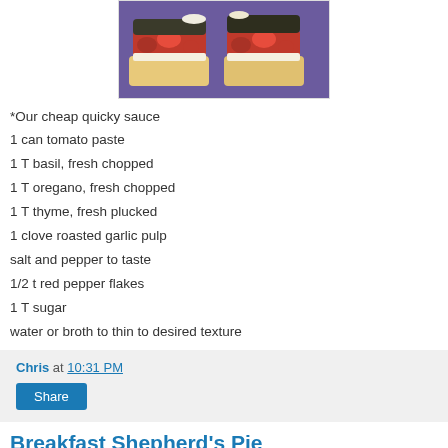[Figure (photo): Photo of sandwiches with tomato sauce on a purple plate]
*Our cheap quicky sauce
1 can tomato paste
1 T basil, fresh chopped
1 T oregano, fresh chopped
1 T thyme, fresh plucked
1 clove roasted garlic pulp
salt and pepper to taste
1/2 t red pepper flakes
1 T sugar
water or broth to thin to desired texture
Chris at 10:31 PM
Share
Breakfast Shepherd's Pie